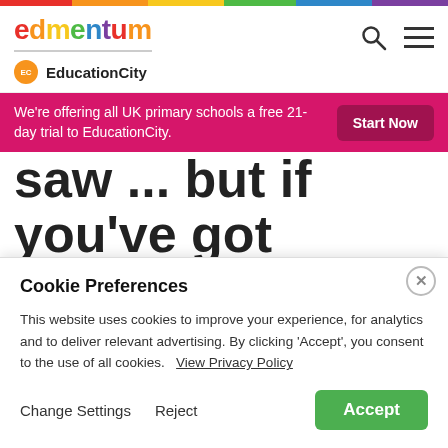[Figure (logo): Edmentum logo with multicolor letters, horizontal divider, and EducationCity sub-brand with orange circular icon]
We're offering all UK primary schools a free 21-day trial to EducationCity.
Start Now
saw ... but if you've got better, let us know by replying to THIS blog!
Cookie Preferences
This website uses cookies to improve your experience, for analytics and to deliver relevant advertising. By clicking 'Accept', you consent to the use of all cookies.   View Privacy Policy
Change Settings
Reject
Accept